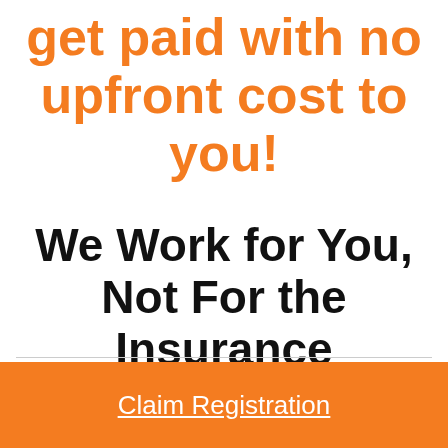we will help you get paid with no upfront cost to you!
We Work for You, Not For the Insurance Company!
Claim Registration